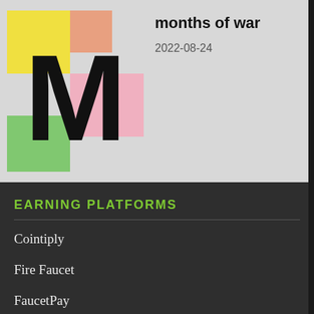[Figure (illustration): Colorful mosaic image with large black M letter on yellow, salmon, pink, and green background blocks]
months of war
2022-08-24
EARNING PLATFORMS
Cointiply
Fire Faucet
FaucetPay
Crypto Win